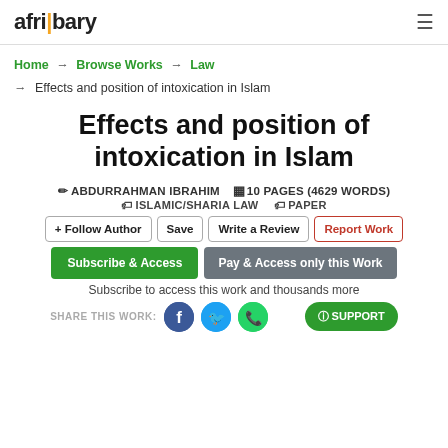afribary
Home → Browse Works → Law → Effects and position of intoxication in Islam
Effects and position of intoxication in Islam
ABDURRAHMAN IBRAHIM  10 PAGES (4629 WORDS)  ISLAMIC/SHARIA LAW  PAPER
+ Follow Author  Save  Write a Review  Report Work
Subscribe & Access  Pay & Access only this Work
Subscribe to access this work and thousands more
SHARE THIS WORK: